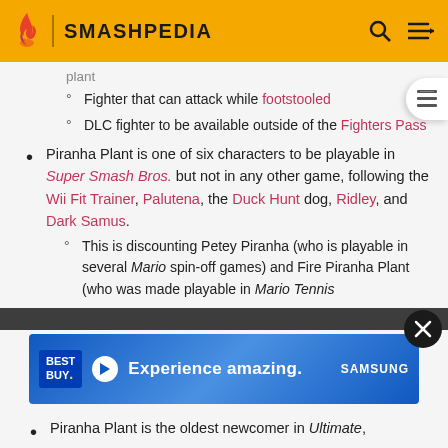SMASHPEDIA
plant
Fighter that can attack while footstooled
DLC fighter to be available outside of the Fighters Pass
Piranha Plant is one of six characters to be playable in Super Smash Bros. but not in any other game, following the Wii Fit Trainer, Palutena, the Duck Hunt dog, Ridley, and Dark Samus.
This is discounting Petey Piranha (who is playable in several Mario spin-off games) and Fire Piranha Plant (who was made playable in Mario Tennis
[Figure (screenshot): Best Buy advertisement banner: Experience amazing. Samsung]
Piranha Plant is the oldest newcomer in Ultimate,